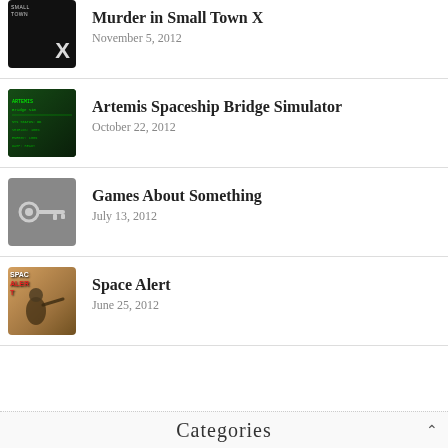Murder in Small Town X
November 5, 2012
Artemis Spaceship Bridge Simulator
October 22, 2012
Games About Something
July 13, 2012
Space Alert
June 25, 2012
Categories